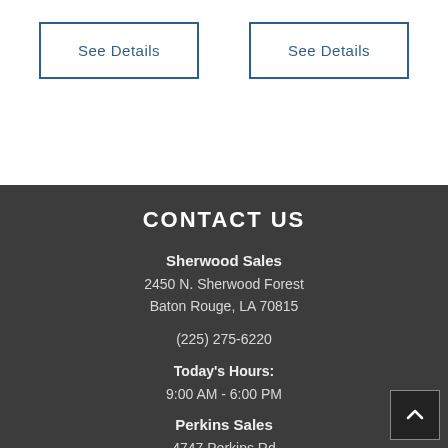See Details
See Details
CONTACT US
Sherwood Sales
2450 N. Sherwood Forest
Baton Rouge, LA 70815
(225) 275-6220
Today's Hours:
9:00 AM - 6:00 PM
Perkins Sales
4747 Perkins Rd